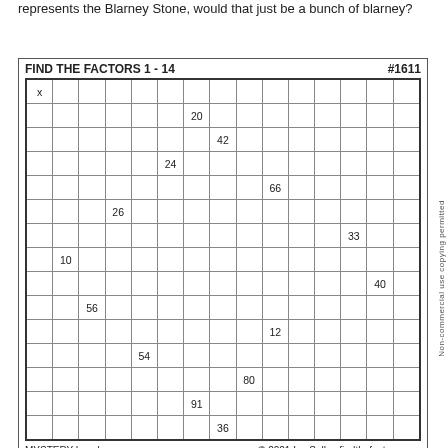represents the Blarney Stone, would that just be a bunch of blarney?
| x |  |  |  |  |  |  |  |  |  |  |  |  |  |  |
| --- | --- | --- | --- | --- | --- | --- | --- | --- | --- | --- | --- | --- | --- | --- |
|  |  |  |  |  |  | 20 |  |  |  |  |  |  |  |  |
|  |  |  |  |  |  |  | 42 |  |  |  |  |  |  |  |
|  |  |  |  |  | 24 |  |  |  |  |  |  |  |  |  |
|  |  |  |  |  |  |  |  |  | 66 |  |  |  |  |  |
|  |  |  | 26 |  |  |  |  |  |  |  |  |  |  |  |
|  |  |  |  |  |  |  |  |  |  |  |  | 33 |  |  |
|  | 10 |  |  |  |  |  |  |  |  |  |  |  |  |  |
|  |  |  |  |  |  |  |  |  |  |  |  |  | 40 |  |
|  |  | 56 |  |  |  |  |  |  |  |  |  |  |  |  |
|  |  |  |  |  |  |  |  |  | 12 |  |  |  |  |  |
|  |  |  |  | 54 |  |  |  |  |  |  |  |  |  |  |
|  |  |  |  |  |  |  |  | 80 |  |  |  |  |  |  |
|  |  |  |  |  |  | 91 |  |  |  |  |  |  |  |  |
|  |  |  |  |  |  |  | 36 |  |  |  |  |  |  |  |
MYSTERY Level    © 2021 Iva Sallay findthefactors.com
Non-commercial use copying permitted